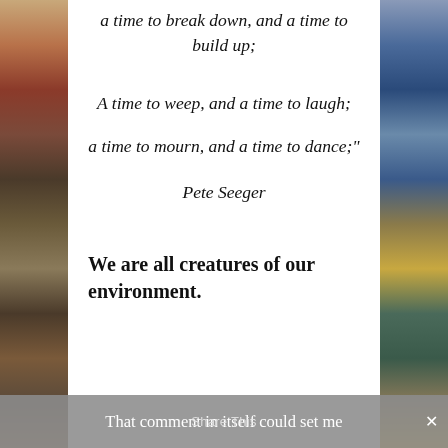[Figure (illustration): Decorative art illustration panels on left and right sides of the page with colorful folk-art style patterns]
a time to break down, and a time to build up;
A time to weep, and a time to laugh;
a time to mourn, and a time to dance;"
Pete Seeger
We are all creatures of our environment.
That comment in itself could set me
Share This ×